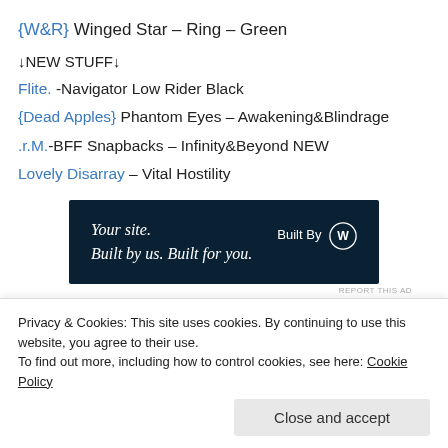{W&R} Winged Star – Ring – Green
↓NEW STUFF↓
Flite. -Navigator Low Rider Black
{Dead Apples} Phantom Eyes – Awakening&Blindrage
.r.M.-BFF Snapbacks – Infinity&Beyond NEW
Lovely Disarray – Vital Hostility
[Figure (other): WordPress advertisement banner: 'Your site. Built by us. Built for you.' with Built By WordPress logo on dark navy background]
REPORT THIS AD
Wh...Ch...de W...ri...
Stockings.
E.Inc – Sexy Me Heels stocking warmer and
Privacy & Cookies: This site uses cookies. By continuing to use this website, you agree to their use.
To find out more, including how to control cookies, see here: Cookie Policy
Close and accept